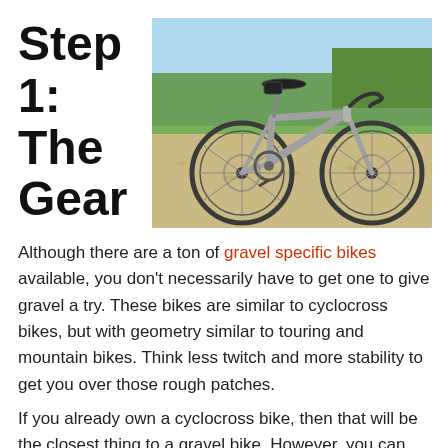Step 1: The Gear
[Figure (photo): A gravel bike parked on a gravel path with green fields and a light blue sky in the background. The bike has drop handlebars, disc brakes, and a saddle bag.]
Although there are a ton of gravel specific bikes available, you don't necessarily have to get one to give gravel a try. These bikes are similar to cyclocross bikes, but with geometry similar to touring and mountain bikes. Think less twitch and more stability to get you over those rough patches.
If you already own a cyclocross bike, then that will be the closest thing to a gravel bike. However, you can make a road or mountain bike work as well. The compromise